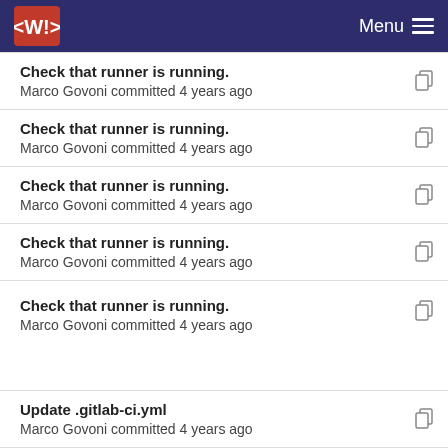Menu
Check that runner is running.
Marco Govoni committed 4 years ago
Check that runner is running.
Marco Govoni committed 4 years ago
Check that runner is running.
Marco Govoni committed 4 years ago
Check that runner is running.
Marco Govoni committed 4 years ago
Check that runner is running.
Marco Govoni committed 4 years ago
Update .gitlab-ci.yml
Marco Govoni committed 4 years ago